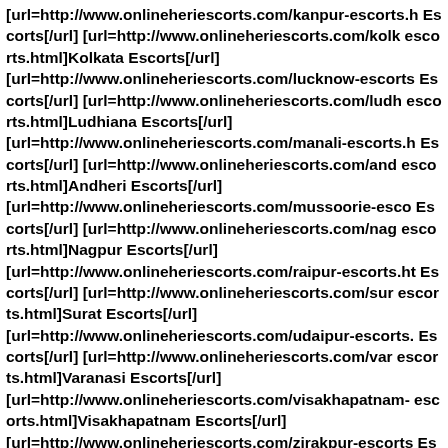[url=http://www.onlineheriescorts.com/kanpur-escorts.h Escorts[/url] [url=http://www.onlineheriescorts.com/kolk escorts.html]Kolkata Escorts[/url] [url=http://www.onlineheriescorts.com/lucknow-escorts Escorts[/url] [url=http://www.onlineheriescorts.com/ludh escorts.html]Ludhiana Escorts[/url] [url=http://www.onlineheriescorts.com/manali-escorts.h Escorts[/url] [url=http://www.onlineheriescorts.com/and escorts.html]Andheri Escorts[/url] [url=http://www.onlineheriescorts.com/mussoorie-esco Escorts[/url] [url=http://www.onlineheriescorts.com/nag escorts.html]Nagpur Escorts[/url] [url=http://www.onlineheriescorts.com/raipur-escorts.ht Escorts[/url] [url=http://www.onlineheriescorts.com/sur escorts.html]Surat Escorts[/url] [url=http://www.onlineheriescorts.com/udaipur-escorts. Escorts[/url] [url=http://www.onlineheriescorts.com/var escorts.html]Varanasi Escorts[/url] [url=http://www.onlineheriescorts.com/visakhapatnam- escorts.html]Visakhapatnam Escorts[/url] [url=http://www.onlineheriescorts.com/zirakpur-escorts Escorts[/url] [url=http://www.onlineheriescorts.com/ban escorts.html]Bandra Escorts[/url] [url=http://www.onlineheriescorts.com/bhilai-escorts.ht Escorts[/url] [url=http://www.onlineheriescorts.com/bhu